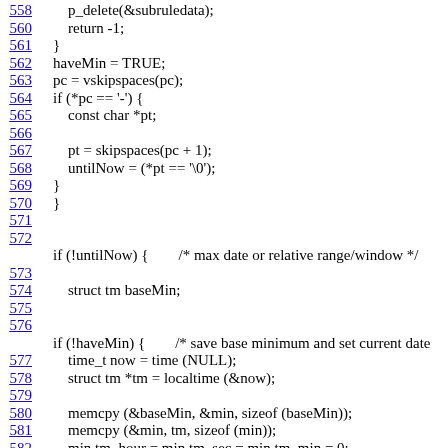558    p_delete(&subruledata);
560        return -1;
561    }
562    haveMin = TRUE;
563    pc = vskipspaces(pc);
564    if (*pc == '-') {
565        const char *pt;
566
567        pt = skipspaces(pc + 1);
568        untilNow = (*pt == '\0');
569    }
570    }
571
572
if (!untilNow) {        /* max date or relative range/window */
573
574        struct tm baseMin;
575
576
if (!haveMin) {        /* save base minimum and set current date
577        time_t now = time (NULL);
578        struct tm *tm = localtime (&now);
579
580        memcpy (&baseMin, &min, sizeof (baseMin));
581        memcpy (&min, tm, sizeof (min));
582        min.tm_hour = min.tm_sec = min.tm_min = 0;